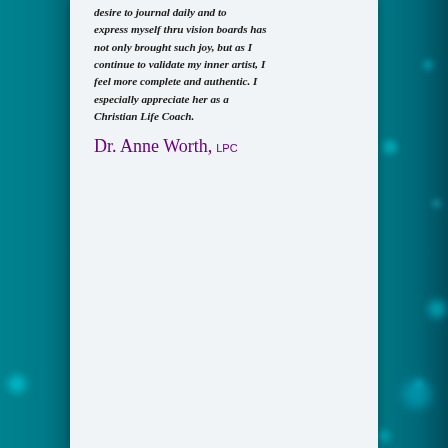desire to journal daily and to express myself thru vision boards has not only brought such joy, but as I continue to validate my inner artist, I feel more complete and authentic. I especially appreciate her as a Christian Life Coach.
Dr. Anne Worth, LPC